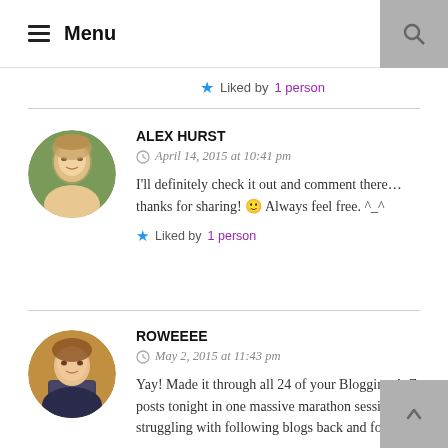Menu
Liked by 1 person
ALEX HURST
April 14, 2015 at 10:41 pm
I'll definitely check it out and comment there... thanks for sharing! 🙂 Always feel free. ^_^
Liked by 1 person
ROWEEEE
May 2, 2015 at 11:43 pm
Yay! Made it through all 24 of your Blogging A-Z posts tonight in one massive marathon session. I am struggling with following blogs back and forth